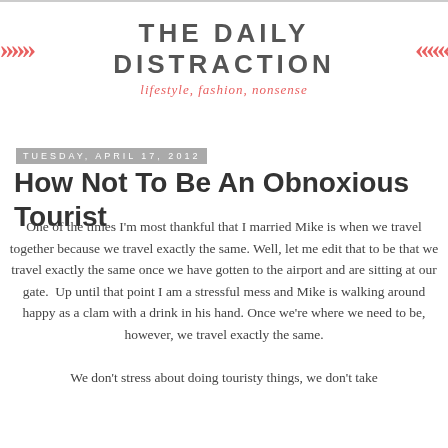[Figure (logo): The Daily Distraction blog logo with salmon/coral colored double chevron arrows on both sides of the text, subtitle reads 'lifestyle, fashion, nonsense' in italic coral text]
Tuesday, April 17, 2012
How Not To Be An Obnoxious Tourist
One of the times I'm most thankful that I married Mike is when we travel together because we travel exactly the same. Well, let me edit that to be that we travel exactly the same once we have gotten to the airport and are sitting at our gate.  Up until that point I am a stressful mess and Mike is walking around happy as a clam with a drink in his hand. Once we're where we need to be, however, we travel exactly the same.
We don't stress about doing touristy things, we don't take